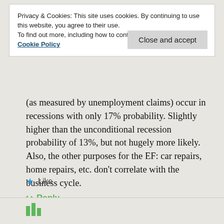Privacy & Cookies: This site uses cookies. By continuing to use this website, you agree to their use.
To find out more, including how to control cookies, see here: Cookie Policy
Close and accept
(as measured by unemployment claims) occur in recessions with only 17% probability. Slightly higher than the unconditional recession probability of 13%, but not hugely more likely. Also, the other purposes for the EF: car repairs, home repairs, etc. don't correlate with the business cycle.
Like
Reply